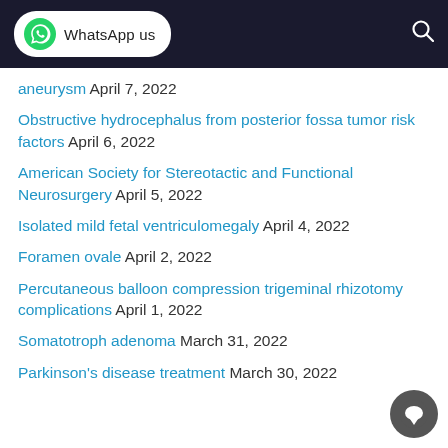WhatsApp us
aneurysm April 7, 2022
Obstructive hydrocephalus from posterior fossa tumor risk factors April 6, 2022
American Society for Stereotactic and Functional Neurosurgery April 5, 2022
Isolated mild fetal ventriculomegaly April 4, 2022
Foramen ovale April 2, 2022
Percutaneous balloon compression trigeminal rhizotomy complications April 1, 2022
Somatotroph adenoma March 31, 2022
Parkinson's disease treatment March 30, 2022